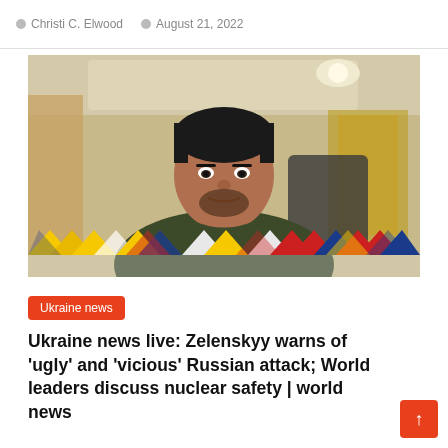Christi C. Elwood · August 21, 2022
[Figure (photo): Video screenshot of Ukrainian President Zelenskyy in an ornate room, wearing a dark olive t-shirt, looking directly at the camera. Below the photo is a decorative strip of colorful geometric triangles in yellow, blue, white, and red.]
Ukraine news
Ukraine news live: Zelenskyy warns of 'ugly' and 'vicious' Russian attack; World leaders discuss nuclear safety | world news